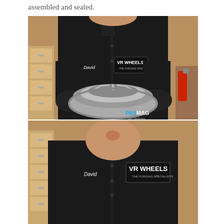assembled and sealed.
[Figure (photo): A mechanic named David wearing a black VR Wheels work shirt and black gloves, holding and inspecting a multi-piece alloy wheel that has been assembled and sealed. The photo shows him from chest level looking down at the wheel. A PASMAG watermark is visible in the lower right corner.]
[Figure (photo): A closer cropped photo of the same mechanic David in a black VR Wheels work shirt, shown from chest level looking downward. The VR Wheels patch and David name tag are visible on his shirt.]